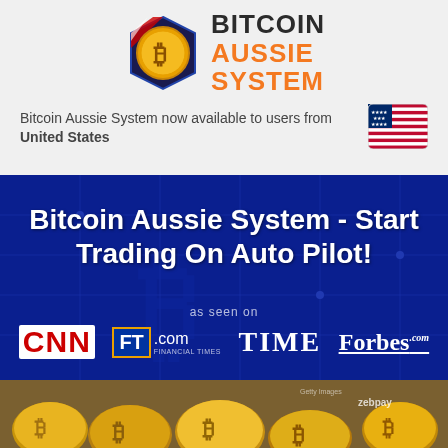[Figure (logo): Bitcoin Aussie System logo with hexagonal coin icon and orange/dark text]
Bitcoin Aussie System now available to users from United States
[Figure (illustration): US flag icon with rounded corners]
[Figure (infographic): Blue circuit board background with bold white headline: Bitcoin Aussie System - Start Trading On Auto Pilot! and media logos CNN, FT.com Financial Times, TIME, Forbes.com]
[Figure (photo): Gold bitcoin coins pile photograph with Getty Images and Zebpay watermarks]